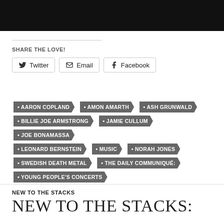[Figure (photo): Dark photo strip at the top of the page showing a partial image]
SHARE THE LOVE!
Twitter  Email  Facebook
AARON COPLAND
AMON AMARTH
ASH GRUNWALD
BILLIE JOE ARMSTRONG
JAMIE CULLUM
JOE BONAMASSA
LEONARD BERNSTEIN
MUSIC
NORAH JONES
SWEDISH DEATH METAL
THE DAILY COMMUNIQUÉ:
YOUNG PEOPLE'S CONCERTS
NEW TO THE STACKS
NEW TO THE STACKS: